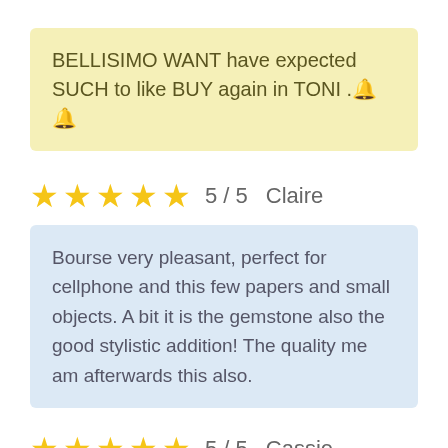BELLISIMO WANT have expected SUCH to like BUY again in TONI .🔔🔔
★★★★★ 5 / 5   Claire
Bourse very pleasant, perfect for cellphone and this few papers and small objects. A bit it is the gemstone also the good stylistic addition! The quality me am afterwards this also.
★★★★★ 5 / 5   Cassie